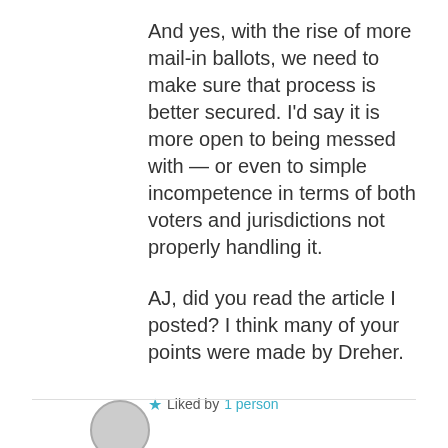And yes, with the rise of more mail-in ballots, we need to make sure that process is better secured. I'd say it is more open to being messed with — or even to simple incompetence in terms of both voters and jurisdictions not properly handling it.
AJ, did you read the article I posted? I think many of your points were made by Dreher.
★ Liked by 1 person